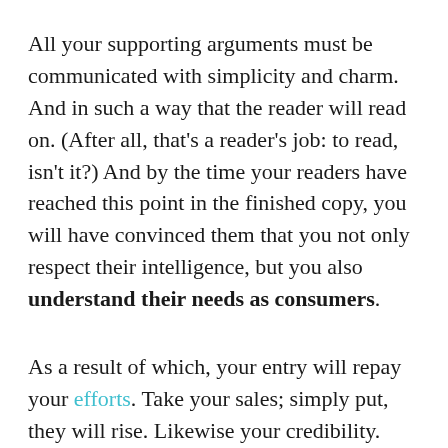All your supporting arguments must be communicated with simplicity and charm. And in such a way that the reader will read on. (After all, that's a reader's job: to read, isn't it?) And by the time your readers have reached this point in the finished copy, you will have convinced them that you not only respect their intelligence, but you also understand their needs as consumers.
As a result of which, your entry will repay your efforts. Take your sales; simply put, they will rise. Likewise your credibility. There's every chance your competitors will wish they'd placed this entry, not you. While your customers will have probably forgotten that your competitors even exist. Which brings us, by a somewhat